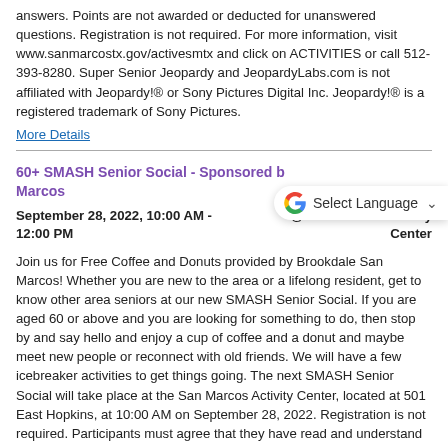answers. Points are not awarded or deducted for unanswered questions. Registration is not required. For more information, visit www.sanmarcostx.gov/activesmtx and click on ACTIVITIES or call 512-393-8280. Super Senior Jeopardy and JeopardyLabs.com is not affiliated with Jeopardy!® or Sony Pictures Digital Inc. Jeopardy!® is a registered trademark of Sony Pictures.
More Details
60+ SMASH Senior Social - Sponsored by Brookdale San Marcos
September 28, 2022, 10:00 AM - 12:00 PM    @ San Marcos Activity Center
Join us for Free Coffee and Donuts provided by Brookdale San Marcos! Whether you are new to the area or a lifelong resident, get to know other area seniors at our new SMASH Senior Social. If you are aged 60 or above and you are looking for something to do, then stop by and say hello and enjoy a cup of coffee and a donut and maybe meet new people or reconnect with old friends. We will have a few icebreaker activities to get things going. The next SMASH Senior Social will take place at the San Marcos Activity Center, located at 501 East Hopkins, at 10:00 AM on September 28, 2022. Registration is not required. Participants must agree that they have read and understand the City of San Marcos Parks and Recreation Department Release and Waiver of Liability and will have to sign the waiver when attending the social. Bring a friend, it will be a SMASH!
More Details